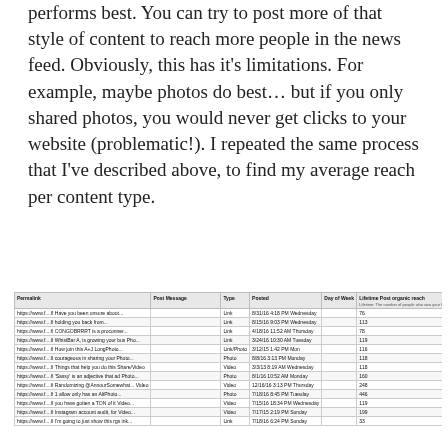performs best. You can try to post more of that style of content to reach more people in the news feed. Obviously, this has it's limitations. For example, maybe photos do best... but if you only shared photos, you would never get clicks to your website (problematic!). I repeated the same process that I've described above, to find my average reach per content type.
| Permalink | Post Message | Type | Posted | Day of Week | Lifetime Post organic reach |
| --- | --- | --- | --- | --- | --- |
| https://www.f... | Have you been unsure about... | Link | 8/31/16 4:18 PM Wednesday |  | 76 |
| https://www.f... | holding you back from... | Link | 8/15/16 9:03 PM Wednesday |  | 113 |
| https://www.f... | CONGOBRRRT is a proconner... | Link | 4/18/16 11:52 AM Thursday |  | 78 |
| https://www.f... | WhistBar A is growing your business... | Link | 3/24/16 10:30 AM Tuesday |  | 119 |
| https://www.f... | How join this A+J Campaign... | Link/Photo | 3/12/15 1:42 PM Mon |  | 116 |
| https://www.f... | courageous in sharing your Photo... | Photo | 8/8/16 3:13 PM Monday |  | 118 |
| https://www.f... | Things that help you do this Share/Video | Video | 3/3/13 8:19 AM Wednesday |  | 118 |
| https://www.f... | 'Sassy' is an adjective that ad Photo... | Photo | 8/1/16 10:52 AM Monday |  | 160 |
| https://www.f... | Randomizing @AnnourSomewhat... Video | Video | 12/16/16 3:13 PM Thursday |  | 248 |
| https://www.f... | 1 allow only has an AltPhoto... | Photo | 7/18/16 8:45 PM Tuesday |  | 446 |
| https://www.f... | you have gotten a TON of it Video... | Video | 7/15/16 18:34 PM Wednesday |  | 119 |
| https://www.f... | Instagram account audit, for Video... | Video | 7/17/15 2:19 PM Sunday |  | 199 |
| https://www.f... | I'm going to just show this rgs ink... | Link | 7/18/16 6:24 PM Sunday |  | 33 |